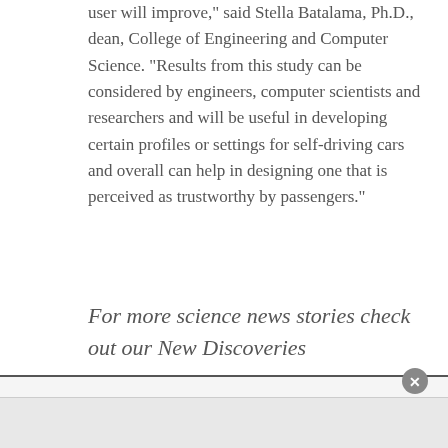user will improve," said Stella Batalama, Ph.D., dean, College of Engineering and Computer Science. "Results from this study can be considered by engineers, computer scientists and researchers and will be useful in developing certain profiles or settings for self-driving cars and overall can help in designing one that is perceived as trustworthy by passengers."
For more science news stories check out our New Discoveries